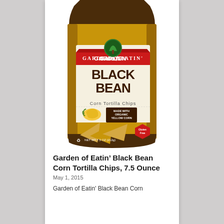[Figure (photo): Garden of Eatin' Black Bean Corn Tortilla Chips product bag — gold/brown bag with red Garden of Eatin' banner, large BLACK BEAN text, Corn Tortilla Chips label, Made With Organic Yellow Corn badge, corn illustration, tortilla chips, Gluten Free badge, NET WT 7.5 OZ (212g)]
Garden of Eatin’ Black Bean Corn Tortilla Chips, 7.5 Ounce
May 1, 2015
Garden of Eatin' Black Bean Corn